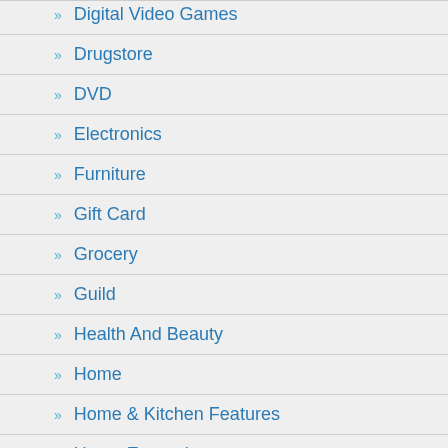Digital Video Games
Drugstore
DVD
Electronics
Furniture
Gift Card
Grocery
Guild
Health And Beauty
Home
Home & Kitchen Features
Home Entertainment
Home Improvement